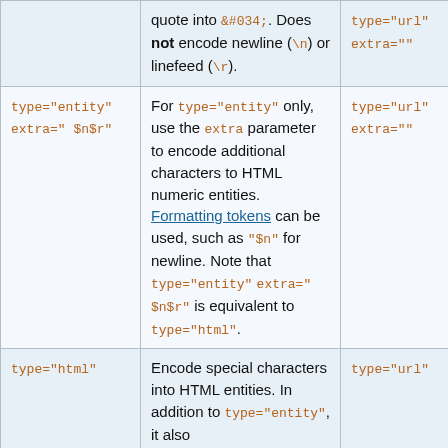| (continued row) | quote into &#034;. Does not encode newline (\n) or linefeed (\r). | type="url" extra="" |
| type="entity" extra=" $n$r" | For type="entity" only, use the extra parameter to encode additional characters to HTML numeric entities. Formatting tokens can be used, such as "$n" for newline. Note that type="entity" extra=" $n$r" is equivalent to type="html". | type="url" extra="" |
| type="html" | Encode special characters into HTML entities. In addition to type="entity", it also | type="url" |